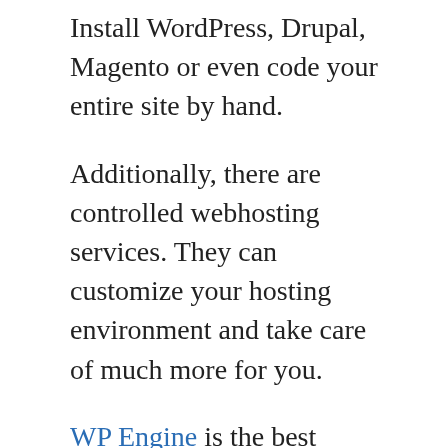Install WordPress, Drupal, Magento or even code your entire site by hand.
Additionally, there are controlled webhosting services. They can customize your hosting environment and take care of much more for you.
WP Engine is the best exampleof this, as it's a managed host that supports WordPress. Instead of having an account with cPanel that allows me access anything I'd like, WP Engine gives me an account to their customized interface, designed for managing WordPress websites specifically.
If a website host is optimized exclusively for WordPress. Three key elements happen